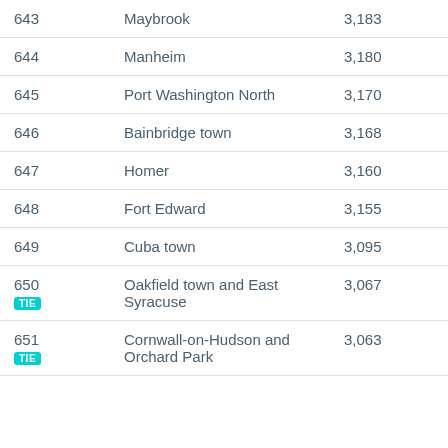| Rank | Name | Population |
| --- | --- | --- |
| 643 | Maybrook | 3,183 |
| 644 | Manheim | 3,180 |
| 645 | Port Washington North | 3,170 |
| 646 | Bainbridge town | 3,168 |
| 647 | Homer | 3,160 |
| 648 | Fort Edward | 3,155 |
| 649 | Cuba town | 3,095 |
| 650 TIE | Oakfield town and East Syracuse | 3,067 |
| 651 TIE | Cornwall-on-Hudson and Orchard Park | 3,063 |